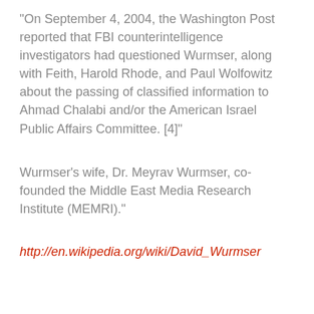"On September 4, 2004, the Washington Post reported that FBI counterintelligence investigators had questioned Wurmser, along with Feith, Harold Rhode, and Paul Wolfowitz about the passing of classified information to Ahmad Chalabi and/or the American Israel Public Affairs Committee. [4]"
Wurmser's wife, Dr. Meyrav Wurmser, co-founded the Middle East Media Research Institute (MEMRI)."
http://en.wikipedia.org/wiki/David_Wurmser